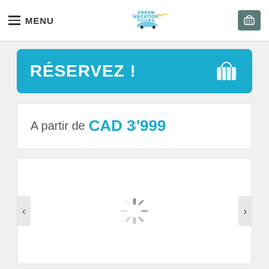MENU | Dream Vacation Tours logo | Cart
RÉSERVEZ !
A partir de CAD 3'999
[Figure (screenshot): Loading spinner in the center of a white image carousel area with left and right navigation arrows]